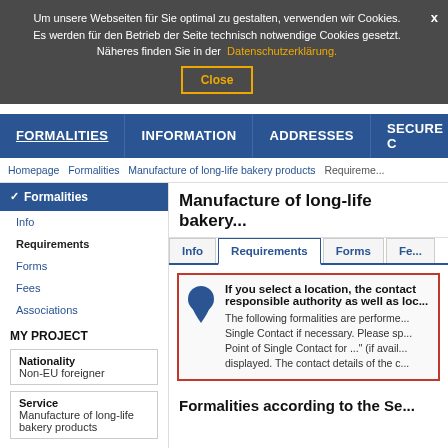Um unsere Webseiten für Sie optimal zu gestalten, verwenden wir Cookies. Es werden für den Betrieb der Seite technisch notwendige Cookies gesetzt. Näheres finden Sie in der Datenschutzerklärung. Close
FORMALITIES | INFORMATION | ADDRESSES | SECURE C
Homepage  Formalities  Manufacture of long-life bakery products  Requireme...
Manufacture of long-life bakery...
Info | Requirements | Forms | Fe...
If you select a location, the contact responsible authority as well as loc...
The following formalities are performed... Single Contact if necessary. Please sp... Point of Single Contact for ..." (if avail... displayed. The contact details of the c...
Formalities according to the Se...
MY PROJECT
Nationality
Non-EU foreigner
Service
Manufacture of long-life bakery products